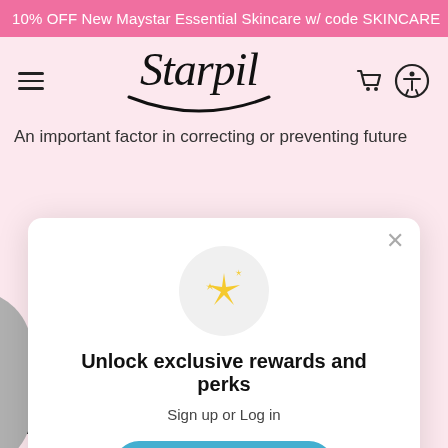10% OFF New Maystar Essential Skincare w/ code SKINCARE
[Figure (logo): Starpil logo with italic script font and smile underline]
An important factor in correcting or preventing future
[Figure (screenshot): Modal popup: Unlock exclusive rewards and perks. Sign up or Log in button. Already have an account? Sign in.]
Wearing Airy Clothes